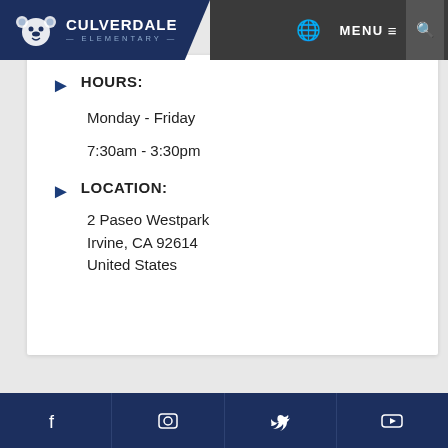Culverdale Elementary — header navigation with logo, MENU, and search
HOURS:
Monday - Friday
7:30am - 3:30pm
LOCATION:
2 Paseo Westpark
Irvine, CA 92614
United States
Social media icon links footer bar